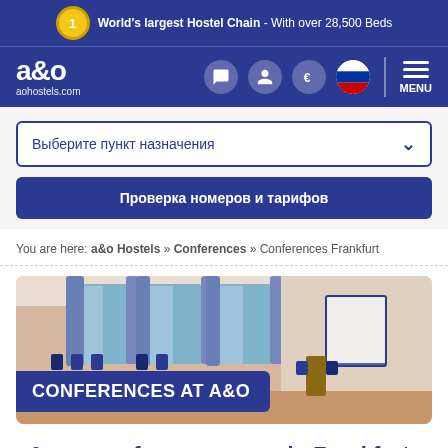World's largest Hostel Chain - With over 28,500 Beds
[Figure (logo): a&o Hostels logo with navigation icons: chat, user, euro, Russian flag, and MENU button]
Выберите пункт назначения
Проверка номеров и тарифов
You are here: a&o Hostels » Conferences » Conferences Frankfurt
[Figure (photo): Conference room interior with chairs, tables, windows with curtains, and a whiteboard. Overlay text: CONFERENCES AT A&O]
a&o as conference venue in Frankfurt